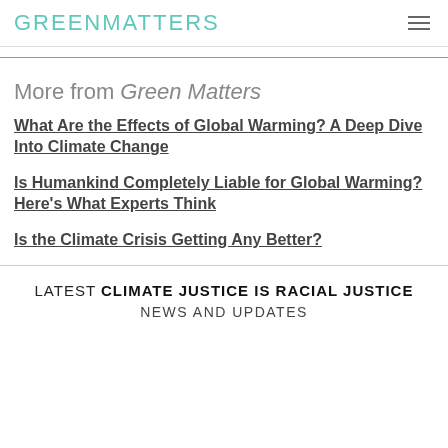GREENMATTERS
More from Green Matters
What Are the Effects of Global Warming? A Deep Dive Into Climate Change
Is Humankind Completely Liable for Global Warming? Here's What Experts Think
Is the Climate Crisis Getting Any Better?
LATEST CLIMATE JUSTICE IS RACIAL JUSTICE NEWS AND UPDATES